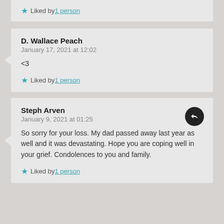★ Liked by 1 person
D. Wallace Peach
January 17, 2021 at 12:02

<3

★ Liked by 1 person
Steph Arven
January 9, 2021 at 01:25

So sorry for your loss. My dad passed away last year as well and it was devastating. Hope you are coping well in your grief. Condolences to you and family.

★ Liked by 1 person